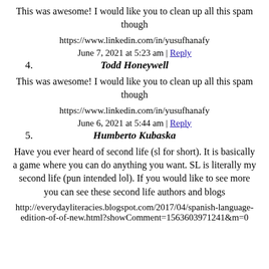This was awesome! I would like you to clean up all this spam though
https://www.linkedin.com/in/yusufhanafy
June 7, 2021 at 5:23 am | Reply
4. Todd Honeywell
This was awesome! I would like you to clean up all this spam though
https://www.linkedin.com/in/yusufhanafy
June 6, 2021 at 5:44 am | Reply
5. Humberto Kubaska
Have you ever heard of second life (sl for short). It is basically a game where you can do anything you want. SL is literally my second life (pun intended lol). If you would like to see more you can see these second life authors and blogs
http://everydayliteracies.blogspot.com/2017/04/spanish-language-edition-of-of-new.html?showComment=1563603971241&m=0